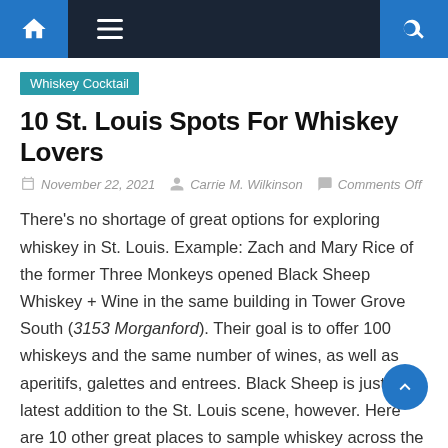Navigation bar with home, menu, and search icons
Whiskey Cocktail
10 St. Louis Spots For Whiskey Lovers
November 22, 2021  Carrie M. Wilkinson  Comments Off
There's no shortage of great options for exploring whiskey in St. Louis. Example: Zach and Mary Rice of the former Three Monkeys opened Black Sheep Whiskey + Wine in the same building in Tower Grove South (3153 Morganford). Their goal is to offer 100 whiskeys and the same number of wines, as well as aperitifs, galettes and entrees. Black Sheep is just the latest addition to the St. Louis scene, however. Here are 10 other great places to sample whiskey across the region.
by Annie Gunn
At the West County staple, pair a whiskey with your favorite